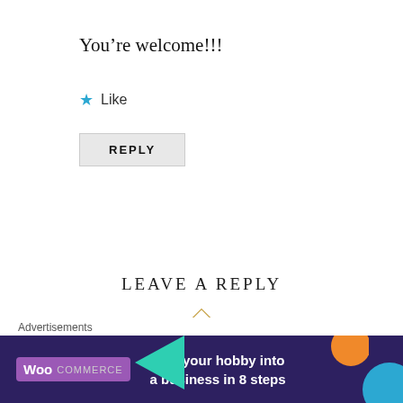You’re welcome!!!
★ Like
REPLY
LEAVE A REPLY
Your email address will not be published. Required fields are marked *
Comment *
[Figure (other): WooCommerce advertisement banner: 'Turn your hobby into a business in 8 steps']